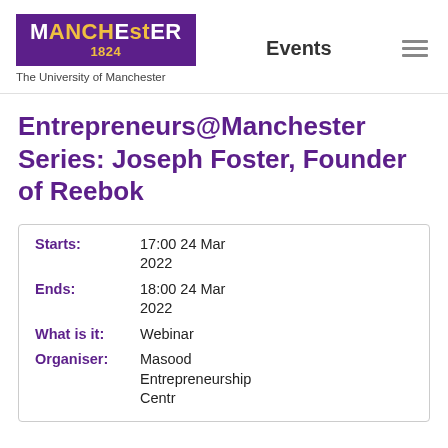MANCHESTER 1824 The University of Manchester | Events
Entrepreneurs@Manchester Series: Joseph Foster, Founder of Reebok
| Field | Value |
| --- | --- |
| Starts: | 17:00 24 Mar 2022 |
| Ends: | 18:00 24 Mar 2022 |
| What is it: | Webinar |
| Organiser: | Masood Entrepreneurship Centre |